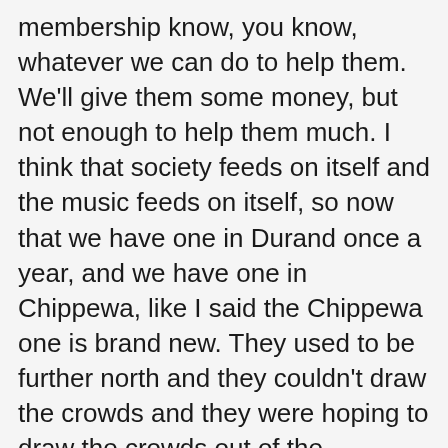membership know, you know, whatever we can do to help them. We'll give them some money, but not enough to help them much. I think that society feeds on itself and the music feeds on itself, so now that we have one in Durand once a year, and we have one in Chippewa, like I said the Chippewa one is brand new. They used to be further north and they couldn't draw the crowds and they were hoping to draw the crowds out of the Chippewa Northern state fairgrounds.
(31:50)
CK: So is that where it's going to be held?